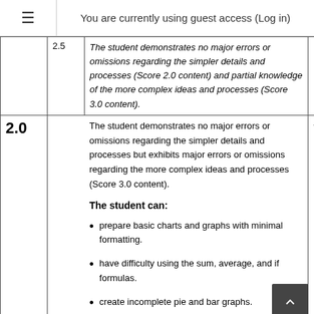You are currently using guest access (Log in)
| Score | Score2 | Description |  |
| --- | --- | --- | --- |
|  | 2.5 | The student demonstrates no major errors or omissions regarding the simpler details and processes (Score 2.0 content) and partial knowledge of the more complex ideas and processes (Score 3.0 content). |  |
| 2.0 |  | The student demonstrates no major errors or omissions regarding the simpler details and processes but exhibits major errors or omissions regarding the more complex ideas and processes (Score 3.0 content).

The student can:
• prepare basic charts and graphs with minimal formatting.
• have difficulty using the sum, average, and if formulas.
• create incomplete pie and bar graphs. | - |